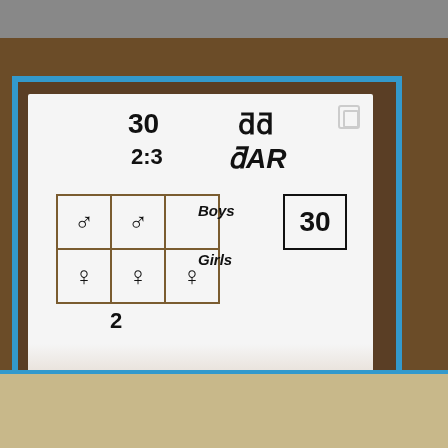[Figure (photo): Photo of a whiteboard held by a person, showing math work: '30', '88', '2:3', 'DAR', a grid with boy/girl symbols (2 boys top row, 3 girls bottom row), labels 'Boys' and 'Girls', a box with '30', and the number '2' below the grid. Blue tape borders the whiteboard. Wooden desk background visible.]